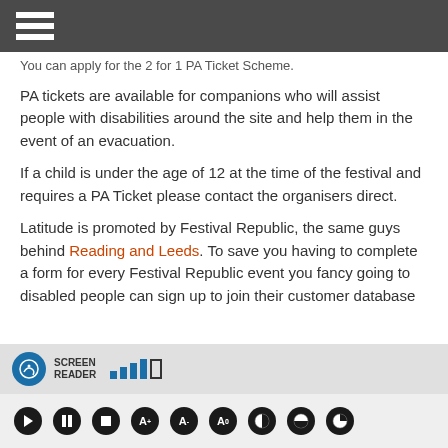You can apply for the 2 for 1 PA Ticket Scheme.
PA tickets are available for companions who will assist people with disabilities around the site and help them in the event of an evacuation.
If a child is under the age of 12 at the time of the festival and requires a PA Ticket please contact the organisers direct.
Latitude is promoted by Festival Republic, the same guys behind Reading and Leeds. To save you having to complete a form for every Festival Republic event you fancy going to disabled people can sign up to join their customer database
[Figure (screenshot): Screen reader accessibility toolbar at the bottom of the page with icon, SCREEN READER label, signal bars, media control buttons and text size adjustment buttons]